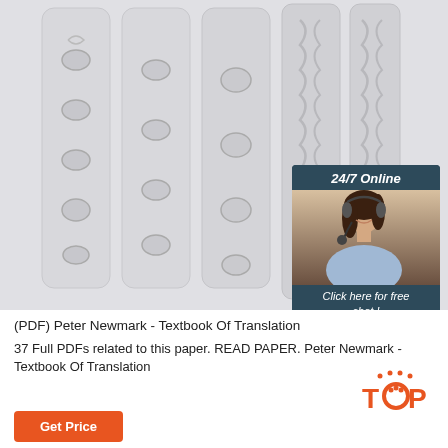[Figure (photo): Five vertical white/gray fabric bra extender strips arranged side by side, showing different hook and eye configurations, with a customer service advertisement banner in the top right corner showing a woman with a headset and text '24/7 Online', 'Click here for free chat!', and an orange 'QUOTATION' button.]
(PDF) Peter Newmark - Textbook Of Translation
37 Full PDFs related to this paper. READ PAPER. Peter Newmark - Textbook Of Translation
[Figure (logo): TOP logo with orange dots above and orange bold text 'TOP' with a paw print replacing the O]
Get Price